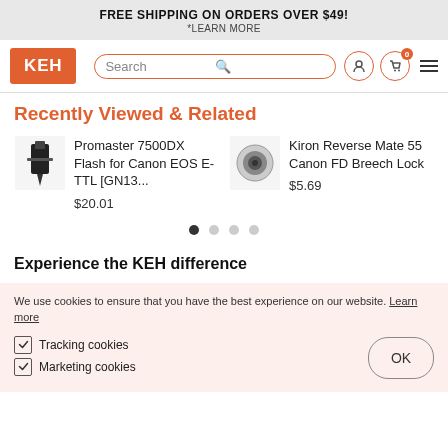FREE SHIPPING ON ORDERS OVER $49!
*LEARN MORE
[Figure (logo): KEH camera logo in orange box, search bar, user icon, cart icon with badge showing 0, hamburger menu]
Recently Viewed & Related
[Figure (photo): Promaster 7500DX Flash for Canon EOS E-TTL thumbnail]
Promaster 7500DX Flash for Canon EOS E-TTL [GN13...
$20.01
[Figure (photo): Kiron Reverse Mate 55 Canon FD Breech Lock thumbnail]
Kiron Reverse Mate 55 Canon FD Breech Lock
$5.69
Experience the KEH difference
We use cookies to ensure that you have the best experience on our website. Learn more
Tracking cookies
Marketing cookies